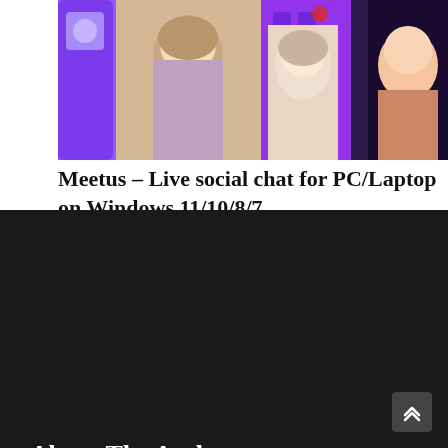[Figure (photo): Screenshot of Meetus live social chat app showing multiple video feeds with women on purple background]
Meetus – Live social chat for PC/Laptop on Windows 11/10/8/7
About The Author
[Figure (illustration): Default user avatar icon — grey circle with silhouette of a person]
Edutechupdates Team